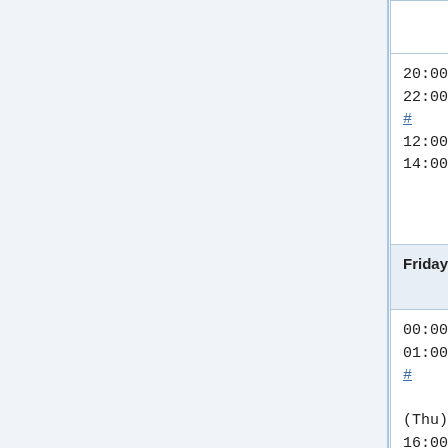| Time | Event | People |
| --- | --- | --- |
| (thcipriani) |  |  |
| 20:00–22:00 UTC # 12:00–14:00 PST | MediaWiki train | Mukunda (twentyafter… |
| Friday, November 11 |  |  |
| 00:00–01:00 UTC # (Thu) 16:00–17:00 PST | Evening SWAT (Max 8 patches) | addshore, Ant (hashar), Brad (anomie), Cha (ostriches), (aude), Max (MaxSem), Muk (twentyafter… Roan (RoanKattouw… |